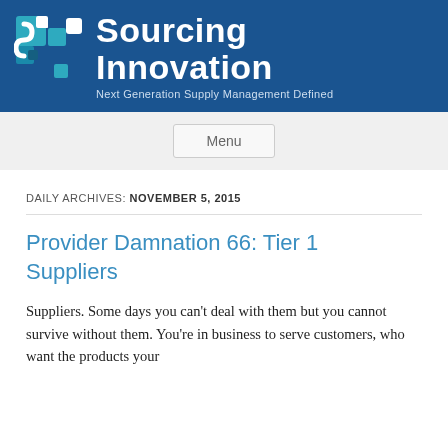[Figure (logo): Sourcing Innovation logo with blue cube/puzzle icon, text 'Sourcing Innovation' and tagline 'Next Generation Supply Management Defined' on dark blue background]
Menu
DAILY ARCHIVES: NOVEMBER 5, 2015
Provider Damnation 66: Tier 1 Suppliers
Suppliers. Some days you can't deal with them but you cannot survive without them. You're in business to serve customers, who want the products your